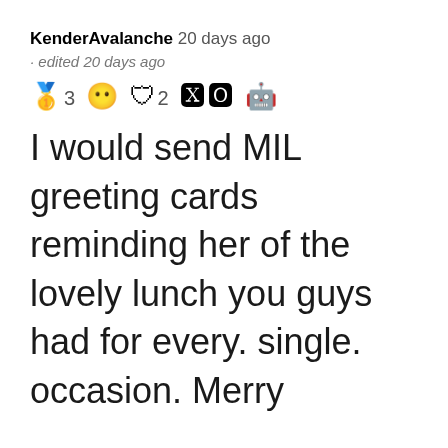KenderAvalanche 20 days ago · edited 20 days ago
🏅3 🌀 🛡2 xoxo 🤖 (emoji reactions)
I would send MIL greeting cards reminding her of the lovely lunch you guys had for every. single. occasion. Merry